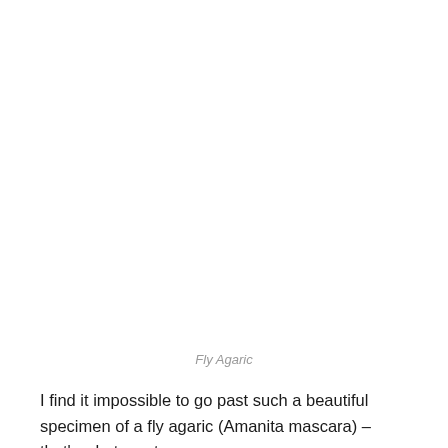[Figure (photo): Blank white space representing a photo of a fly agaric mushroom (image not visible in this rendering)]
Fly Agaric
I find it impossible to go past such a beautiful specimen of a fly agaric (Amanita mascara) – that's what most